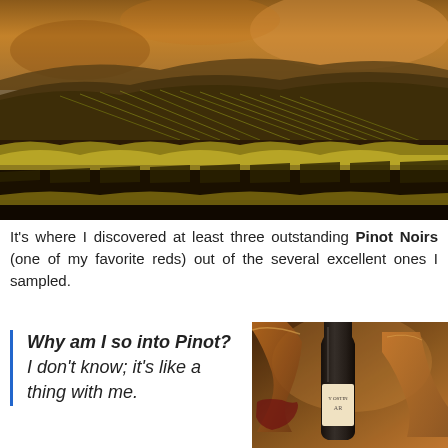[Figure (photo): Aerial view of rolling vineyard hills bathed in warm golden sunset light, with rows of grapevines and yellow mustard flowers in foreground]
It's where I discovered at least three outstanding Pinot Noirs (one of my favorite reds) out of the several excellent ones I sampled.
Why am I so into Pinot? I don't know; it's like a thing with me.
[Figure (photo): Close-up of a dark wine bottle and wine glasses with warm amber light, showing partial label text 'Y OSTING' and 'AR']